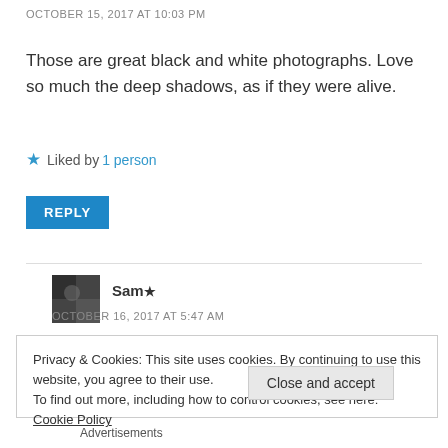OCTOBER 15, 2017 AT 10:03 PM
Those are great black and white photographs. Love so much the deep shadows, as if they were alive.
★ Liked by 1 person
REPLY
Sam★
OCTOBER 16, 2017 AT 5:47 AM
Privacy & Cookies: This site uses cookies. By continuing to use this website, you agree to their use.
To find out more, including how to control cookies, see here: Cookie Policy
Close and accept
Advertisements